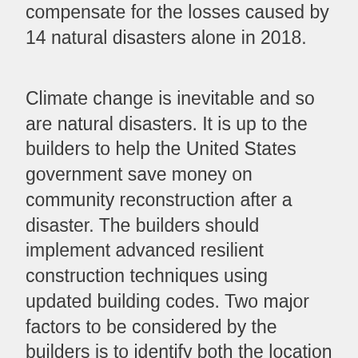compensate for the losses caused by 14 natural disasters alone in 2018.
Climate change is inevitable and so are natural disasters. It is up to the builders to help the United States government save money on community reconstruction after a disaster. The builders should implement advanced resilient construction techniques using updated building codes. Two major factors to be considered by the builders is to identify both the location and construction material. The consumers are now well aware of the catastrophic effects caused by natural disasters and are willing to pay more for resilient homes.